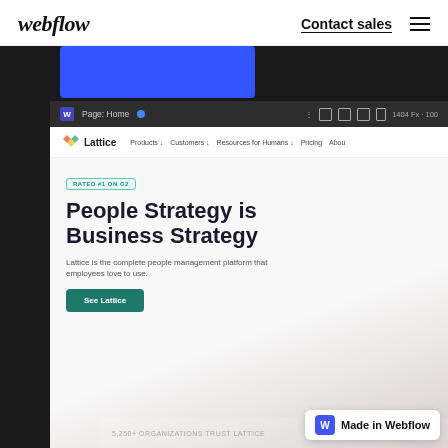webflow   Contact sales  ≡
[Figure (screenshot): Screenshot of Webflow editor showing the Lattice website homepage being edited. The browser chrome shows 'Page: Home' tab. The Lattice site preview shows a nav with logo and links (Products, Customers, Resources for Humans, Pricing, About), a badge reading 'RATED #1 ON G2', a headline 'People Strategy is Business Strategy', subtext 'Lattice is the complete people management platform that employees love to use', a teal 'See Lattice' CTA button, and a footer bar with '5,200+ ORGANIZATIONS TRUST LATTICE'. A 'Made in Webflow' badge appears in the bottom right corner.]